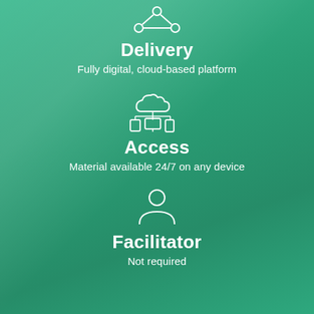[Figure (illustration): White outline icon of a delivery/network/circuit node symbol at the top]
Delivery
Fully digital, cloud-based platform
[Figure (illustration): White outline icon of a cloud with connected devices (tablet, monitor, phone) underneath]
Access
Material available 24/7 on any device
[Figure (illustration): White outline icon of a person/user silhouette]
Facilitator
Not required